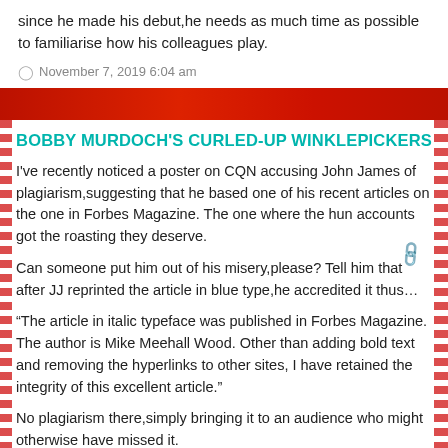since he made his debut,he needs as much time as possible to familiarise how his colleagues play.
November 7, 2019 6:04 am
BOBBY MURDOCH'S CURLED-UP WINKLEPICKERS
I've recently noticed a poster on CQN accusing John James of plagiarism,suggesting that he based one of his recent articles on the one in Forbes Magazine. The one where the hun accounts got the roasting they deserve.
Can someone put him out of his misery,please? Tell him that after JJ reprinted the article in blue type,he accredited it thus…
“The article in italic typeface was published in Forbes Magazine. The author is Mike Meehall Wood. Other than adding bold text and removing the hyperlinks to other sites, I have retained the integrity of this excellent article.”
No plagiarism there,simply bringing it to an audience who might otherwise have missed it.